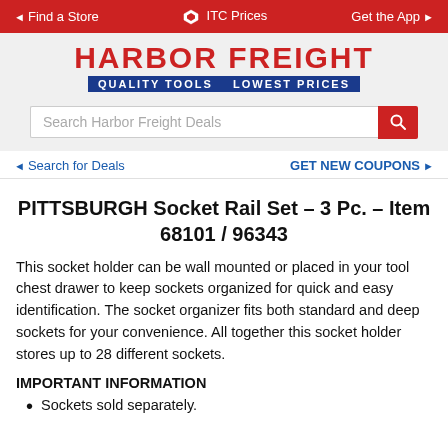Find a Store  ITC Prices  Get the App
[Figure (logo): Harbor Freight logo with tagline QUALITY TOOLS LOWEST PRICES]
Search Harbor Freight Deals
Search for Deals   GET NEW COUPONS
PITTSBURGH Socket Rail Set – 3 Pc. – Item 68101 / 96343
This socket holder can be wall mounted or placed in your tool chest drawer to keep sockets organized for quick and easy identification. The socket organizer fits both standard and deep sockets for your convenience. All together this socket holder stores up to 28 different sockets.
IMPORTANT INFORMATION
Sockets sold separately.